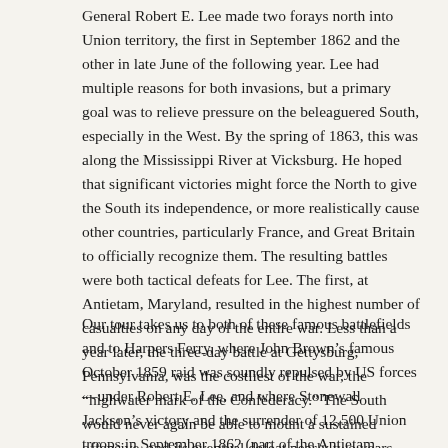General Robert E. Lee made two forays north into Union territory, the first in September 1862 and the other in late June of the following year. Lee had multiple reasons for both invasions, but a primary goal was to relieve pressure on the beleaguered South, especially in the West. By the spring of 1863, this was along the Mississippi River at Vicksburg. He hoped that significant victories might force the North to give the South its independence, or more realistically cause other countries, particularly France, and Great Britain to officially recognize them. The resulting battles were both tactical defeats for Lee. The first, at Antietam, Maryland, resulted in the highest number of casualties on any day of the entire war. Less than a year later, the three-day battle at Gettysburg, Pennsylvania, was the costliest of the war, the “highwater mark of the Confederacy.” The South would never again be able to mount a sustained offensive, and its eventual defeat nearly two years later was ordained here at Gettysburg.
Our tour takes us to both of these famous battlefields and to Harpers Ferry, where John Brown’s famous October 1859 raid was soundly repulsed by US forces—under Robert E. Lee, and where Stonewall Jackson’s victory and the surrender of 12,500 Union troops in September 1862 (part of the Antietam campaign) was the greatest federal disaster until January of 1942 when a larger force